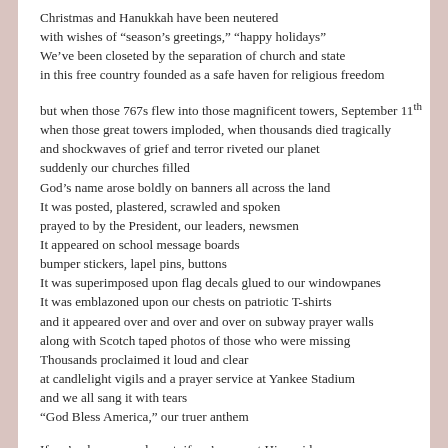Christmas and Hanukkah have been neutered
with wishes of “season’s greetings,” “happy holidays”
We’ve been closeted by the separation of church and state
in this free country founded as a safe haven for religious freedom

but when those 767s flew into those magnificent towers, September 11th
when those great towers imploded, when thousands died tragically
and shockwaves of grief and terror riveted our planet
suddenly our churches filled
God’s name arose boldly on banners all across the land
It was posted, plastered, scrawled and spoken
prayed to by the President, our leaders, newsmen
It appeared on school message boards
bumper stickers, lapel pins, buttons
It was superimposed upon flag decals glued to our windowpanes
It was emblazoned upon our chests on patriotic T-shirts
and it appeared over and over and over on subway prayer walls
along with Scotch taped photos of those who were missing
Thousands proclaimed it loud and clear
at candlelight vigils and a prayer service at Yankee Stadium
and we all sang it with tears
“God Bless America,” our truer anthem

If we’ve been complacent; if we’ve swept Him aside
packed Him away in attic trunks
with things we thought we wouldn’t need anymore
Not cr…